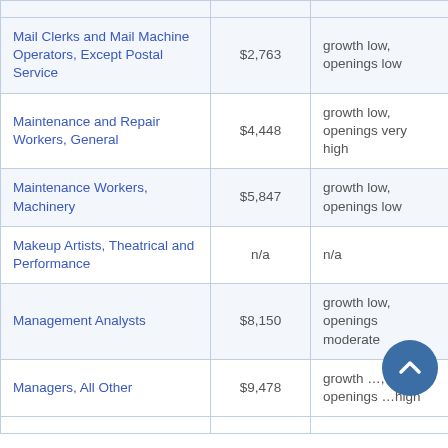| Occupation | Salary | Outlook |
| --- | --- | --- |
| Mail Clerks and Mail Machine Operators, Except Postal Service | $2,763 | growth low, openings low |
| Maintenance and Repair Workers, General | $4,448 | growth low, openings very high |
| Maintenance Workers, Machinery | $5,847 | growth low, openings low |
| Makeup Artists, Theatrical and Performance | n/a | n/a |
| Management Analysts | $8,150 | growth low, openings moderate |
| Managers, All Other | $9,478 | growth …, openings …high |